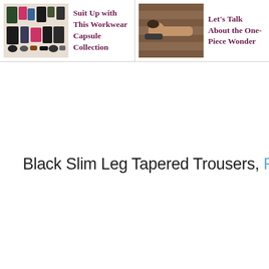[Figure (illustration): Thumbnail image of a workwear capsule collection showing various clothing items laid out]
Suit Up with This Workwear Capsule Collection
[Figure (photo): Thumbnail photo of a person lying down, associated with One-Piece Wonder article]
Let's Talk About the One-Piece Wonder
Black Slim Leg Tapered Trousers, Reiss